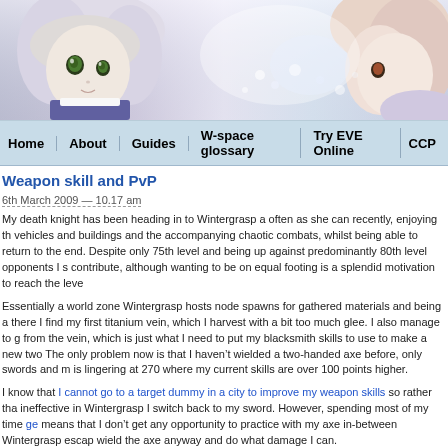[Figure (illustration): Anime-style banner header image showing two anime characters with white/silver hair against a soft purple-grey background. Left character has green eyes and is looking forward. Right character is partially visible on the right edge.]
Home   About   Guides   W-space glossary   Try EVE Online   CCP
Weapon skill and PvP
6th March 2009 — 10.17 am
My death knight has been heading in to Wintergrasp a often as she can recently, enjoying th vehicles and buildings and the accompanying chaotic combats, whilst being able to return to the end. Despite only 75th level and being up against predominantly 80th level opponents I s contribute, although wanting to be on equal footing is a splendid motivation to reach the leve
Essentially a world zone Wintergrasp hosts node spawns for gathered materials and being a there I find my first titanium vein, which I harvest with a bit too much glee. I also manage to g from the vein, which is just what I need to put my blacksmith skills to use to make a new two The only problem now is that I haven't wielded a two-handed axe before, only swords and m is lingering at 270 where my current skills are over 100 points higher.
I know that I cannot go to a target dummy in a city to improve my weapon skills so rather tha ineffective in Wintergrasp I switch back to my sword. However, spending most of my time ge means that I don't get any opportunity to practice with my axe in-between Wintergrasp escap wield the axe anyway and do what damage I can.
It is a little surprising to come out of the massed combat and see that my weapon skill has no point, as I am sure I hit quite a few Horde during the battles. The conclusion I reach is that P